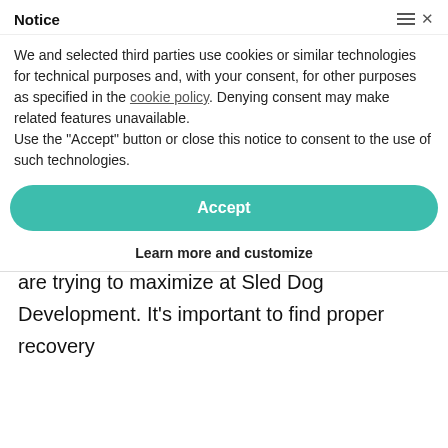Sled Dog Development
Active Recovery For Athletes
By Coach Ozzy
Fast and efficient recovery leads to the ability to train harder and longer which, theoretically, should equate to higher levels of performance. It’s really that simple, and it’s why recovery is one of the 5 Controllable Factors of Performance that we are trying to maximize at Sled Dog Development. It’s important to find proper recovery
Notice
We and selected third parties use cookies or similar technologies for technical purposes and, with your consent, for other purposes as specified in the cookie policy. Denying consent may make related features unavailable.
Use the “Accept” button or close this notice to consent to the use of such technologies.
Accept
Learn more and customize